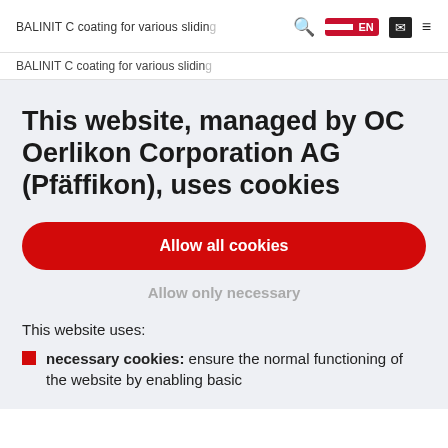BALINIT C coating for various sliding
This website, managed by OC Oerlikon Corporation AG (Pfäffikon), uses cookies
Allow all cookies
Allow only necessary
This website uses:
necessary cookies: ensure the normal functioning of the website by enabling basic